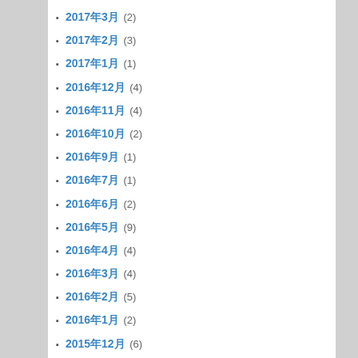2017年3月 (2)
2017年2月 (3)
2017年1月 (1)
2016年12月 (4)
2016年11月 (4)
2016年10月 (2)
2016年9月 (1)
2016年7月 (1)
2016年6月 (2)
2016年5月 (9)
2016年4月 (4)
2016年3月 (4)
2016年2月 (5)
2016年1月 (2)
2015年12月 (6)
2015年11月 (3)
2015年10月 (6)
2015年9月 (8)
2015年8月 (6)
2015年7月 (2)
2015年6月 (1)